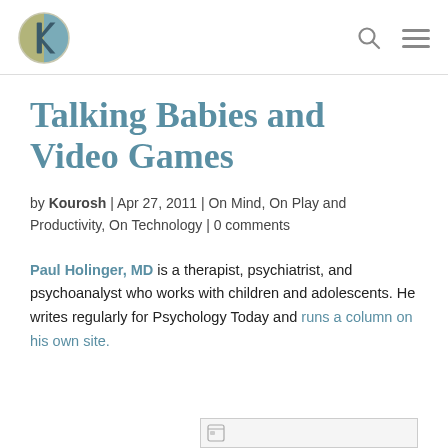Kourosh (logo) | search | menu
Talking Babies and Video Games
by Kourosh | Apr 27, 2011 | On Mind, On Play and Productivity, On Technology | 0 comments
Paul Holinger, MD is a therapist, psychiatrist, and psychoanalyst who works with children and adolescents. He writes regularly for Psychology Today and runs a column on his own site.
[Figure (other): Partial image stub at bottom right of page]